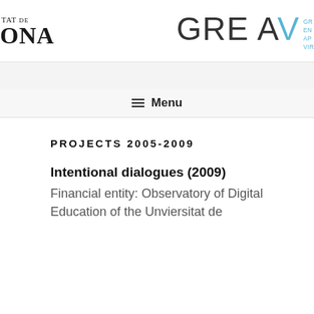[Figure (logo): University logo partial text showing 'TAT DE' and 'ONA' (partial Universitat de Barcelona/Girona logo)]
[Figure (logo): GREAV logo with subtitle lines in blue: GR, EN, AP, VIR]
≡ Menu
PROJECTS 2005-2009
Intentional dialogues (2009)
Financial entity: Observatory of Digital Education of the Unviersitat de